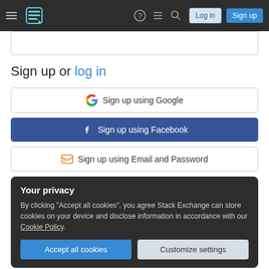Stack Exchange navigation bar with hamburger menu, logo, help, chat, search, Log in, Sign up buttons
Sign up or log in
[Figure (screenshot): Sign up using Google button with Google G logo]
[Figure (screenshot): Sign up using Facebook button with Facebook logo, blue background]
[Figure (screenshot): Sign up using Email and Password button with Stack Exchange icon]
Your privacy
By clicking "Accept all cookies", you agree Stack Exchange can store cookies on your device and disclose information in accordance with our Cookie Policy.
Accept all cookies   Customize settings